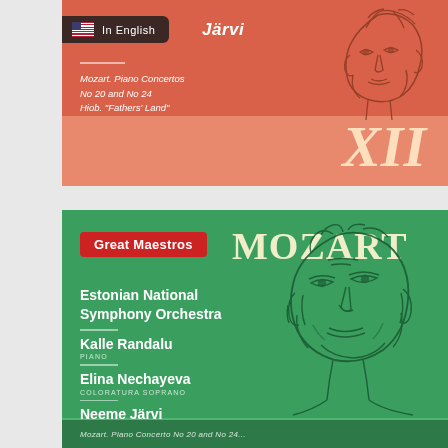[Figure (illustration): Top orange album cover card showing Järvi name, Mozart Piano Concertos subtitle, XII numeral, and a sketch portrait illustration]
[Figure (illustration): Bottom green album cover card: Great Maestros badge, MOZART title, Estonian National Symphony Orchestra, Kalle Randalu piano, Elina Nechayeva coloratura soprano, Neeme Järvi conductor, with sketch portrait of Mozart]